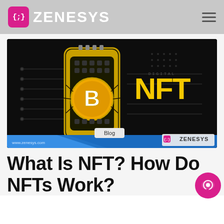ZENESYS
[Figure (illustration): NFT blog banner image with a Bitcoin coin on a chip/circuit board device, yellow NFT text on dark background, with Zenesys branding and www.zenesys.com watermark]
What Is NFT? How Do NFTs Work?